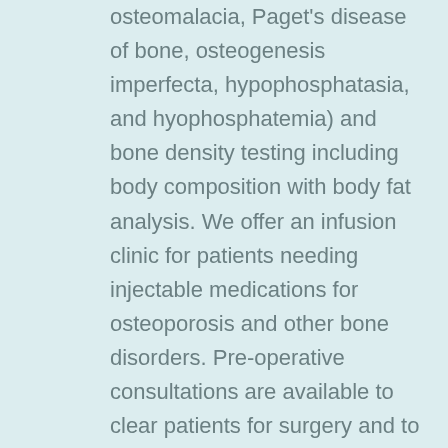osteomalacia, Paget's disease of bone, osteogenesis imperfecta, hypophosphatasia, and hyophosphatemia) and bone density testing including body composition with body fat analysis. We offer an infusion clinic for patients needing injectable medications for osteoporosis and other bone disorders. Pre-operative consultations are available to clear patients for surgery and to optimize skeletal health before some orthopedic and neurological procedures. Our staff consists of specialists with advanced training and many years of clinical experience in both adult health care, diabetes and metabolic bone disease. We are dedicated to improving the health of our patients with adult medical disease and to educating other healthcare professionals in order to provide best practice care for patients with bone disease.